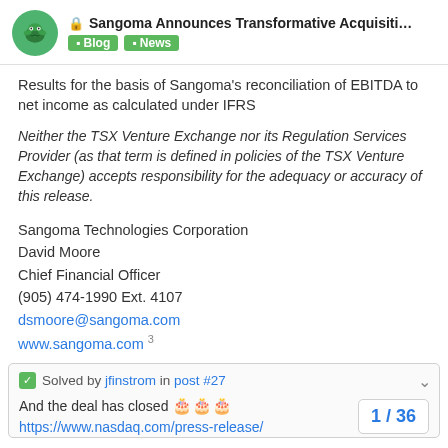Sangoma Announces Transformative Acquisiti... | Blog | News
Results for the basis of Sangoma's reconciliation of EBITDA to net income as calculated under IFRS
Neither the TSX Venture Exchange nor its Regulation Services Provider (as that term is defined in policies of the TSX Venture Exchange) accepts responsibility for the adequacy or accuracy of this release.
Sangoma Technologies Corporation
David Moore
Chief Financial Officer
(905) 474-1990 Ext. 4107
dsmoore@sangoma.com
www.sangoma.com
Solved by jfinstrom in post #27
And the deal has closed 🍰🍰🍰
https://www.nasdaq.com/press-release/
1 / 36